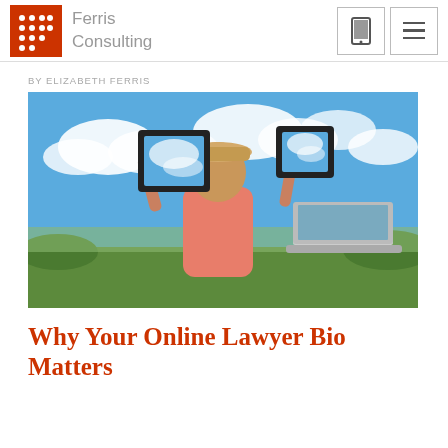Ferris Consulting
BY ELIZABETH FERRIS
[Figure (photo): Person in a straw hat and pink shirt holding two tablet frames in front of their face outdoors against a blue sky, with a laptop on the ground beside them.]
Why Your Online Lawyer Bio Matters